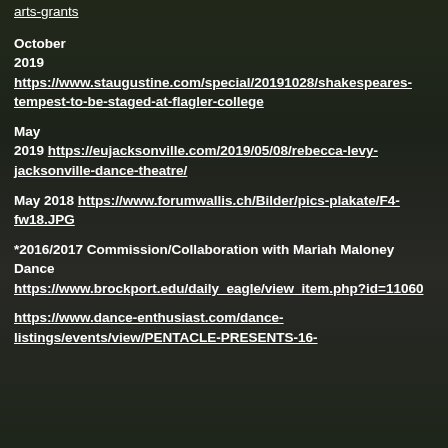arts-grants
October 2019 https://www.staugustine.com/special/20191028/shakespeares-tempest-to-be-staged-at-flagler-college
May 2019 https://eujacksonville.com/2019/05/08/rebecca-levy-jacksonville-dance-theatre/
May 2018 https://www.forumwallis.ch/Bilder/pics-plakate/F4-fw18.JPG
*2016/2017 Commission/Collaboration with Mariah Maloney Dance https://www.brockport.edu/daily_eagle/view_item.php?id=11060
https://www.dance-enthusiast.com/dance-listings/events/view/PENTACLE-PRESENTS-16-